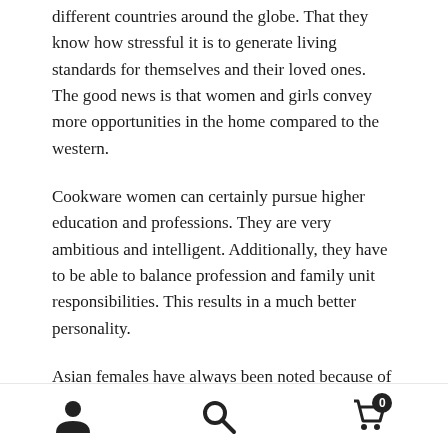different countries around the globe. That they know how stressful it is to generate living standards for themselves and their loved ones. The good news is that women and girls convey more opportunities in the home compared to the western.
Cookware women can certainly pursue higher education and professions. They are very ambitious and intelligent. Additionally, they have to be able to balance profession and family unit responsibilities. This results in a much better personality.
Asian females have always been noted because of their loyalty toward their men. However, recent times have experienced a change. At present, more Asian girls have
[Figure (other): Bottom navigation bar with three icons: user/person icon on the left, search/magnifying glass icon in the center, and a shopping cart icon with a badge showing '0' on the right.]